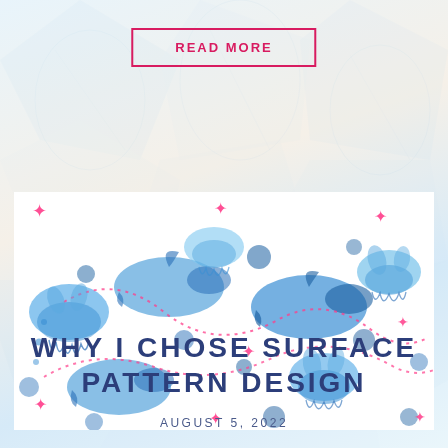READ MORE
[Figure (illustration): Watercolor ocean pattern with blue jellyfish, whales, and sea creatures with pink starfish and dotted lines on white background]
WHY I CHOSE SURFACE PATTERN DESIGN
AUGUST 5, 2022